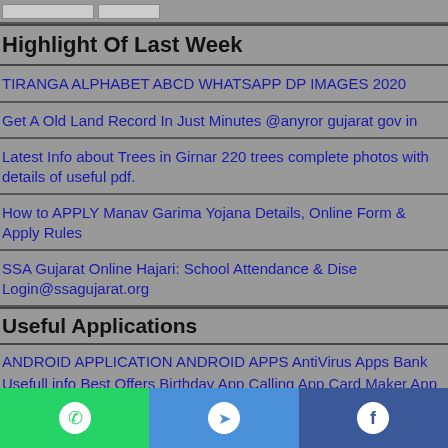Highlight Of Last Week
TIRANGA ALPHABET ABCD WHATSAPP DP IMAGES 2020
Get A Old Land Record In Just Minutes @anyror gujarat gov in
Latest Info about Trees in Girnar 220 trees complete photos with details of useful pdf.
How to APPLY Manav Garima Yojana Details, Online Form & Apply Rules
SSA Gujarat Online Hajari: School Attendance & Dise Login@ssagujarat.org
Useful Applications
ANDROID APPLICATION ANDROID APPS AntiVirus Apps Bank Usefull info Best Offers Birthday App Calling App Card Maker App Dictionary App Diksha App Usefull E-BOOK Educational App Festival Application FIT INDIA Funny App Games Google App Government
WhatsApp | Telegram | Facebook